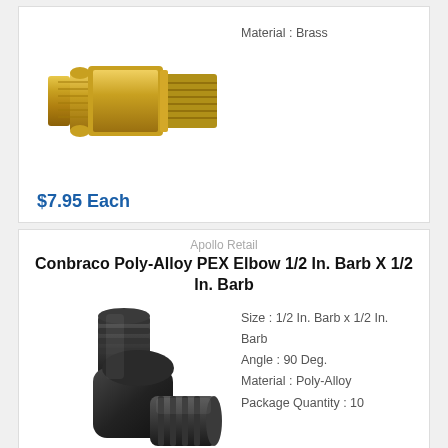[Figure (photo): Brass PEX fitting - male adapter with threaded end and barbed end, gold colored]
Material : Brass
$7.95 Each
Apollo Retail
Conbraco Poly-Alloy PEX Elbow 1/2 In. Barb X 1/2 In. Barb
[Figure (photo): Black poly-alloy PEX elbow fitting, 90 degree angle, barbed ends]
Size : 1/2 In. Barb x 1/2 In. Barb
Angle : 90 Deg.
Material : Poly-Alloy
Package Quantity : 10